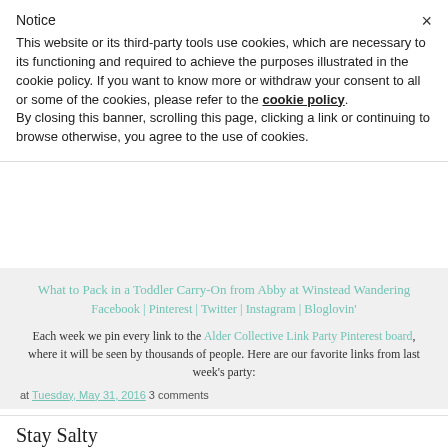Notice
This website or its third-party tools use cookies, which are necessary to its functioning and required to achieve the purposes illustrated in the cookie policy. If you want to know more or withdraw your consent to all or some of the cookies, please refer to the cookie policy.
By closing this banner, scrolling this page, clicking a link or continuing to browse otherwise, you agree to the use of cookies.
What to Pack in a Toddler Carry-On from Abby at Winstead Wandering
Facebook | Pinterest | Twitter | Instagram | Bloglovin'
Each week we pin every link to the Alder Collective Link Party Pinterest board, where it will be seen by thousands of people. Here are our favorite links from last week's party:
at Tuesday, May 31, 2016 3 comments
Stay Salty